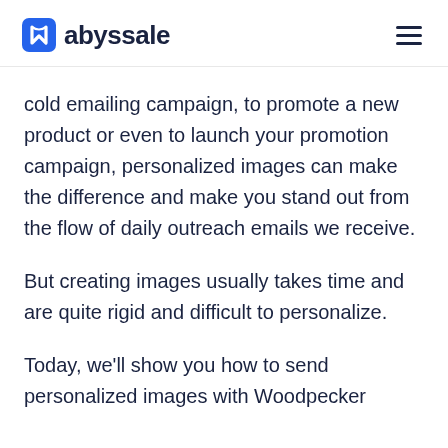abyssale
cold emailing campaign, to promote a new product or even to launch your promotion campaign, personalized images can make the difference and make you stand out from the flow of daily outreach emails we receive.
But creating images usually takes time and are quite rigid and difficult to personalize.
Today, we’ll show you how to send personalized images with Woodpecker